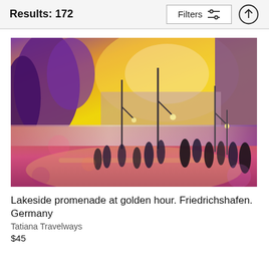Results: 172
[Figure (illustration): Impressionist-style painting of a lakeside promenade at golden hour in Friedrichshafen, Germany. Figures walk along a lamp-lit street under an orange and yellow sky, with purple-toned trees and buildings in the background.]
Lakeside promenade at golden hour. Friedrichshafen. Germany
Tatiana Travelways
$45